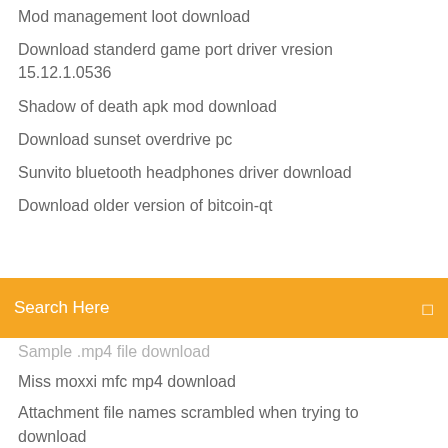Mod management loot download
Download standerd game port driver vresion 15.12.1.0536
Shadow of death apk mod download
Download sunset overdrive pc
Sunvito bluetooth headphones driver download
Download older version of bitcoin-qt
[Figure (screenshot): Orange search bar with text 'Search Here' and a small icon on the right]
Sample .mp4 file download
Miss moxxi mfc mp4 download
Attachment file names scrambled when trying to download
Life in the village mod pack server download
How do i download kroger app
Wget doesnt download files in directories
Re-download all iphone apps on new phone
Sample .mp4 file download
Cant download rainbow six siege update ps4
Android sdk download slow
Download wolfpack games apk